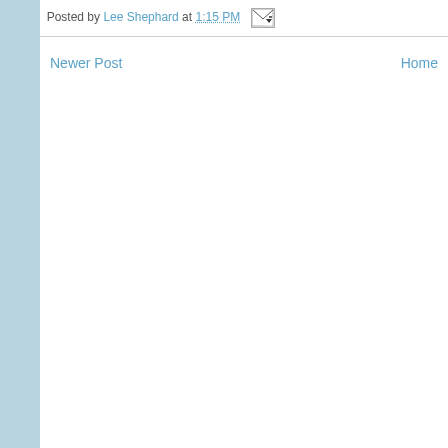Posted by Lee Shephard at 1:15 PM [email icon]
Newer Post
Home